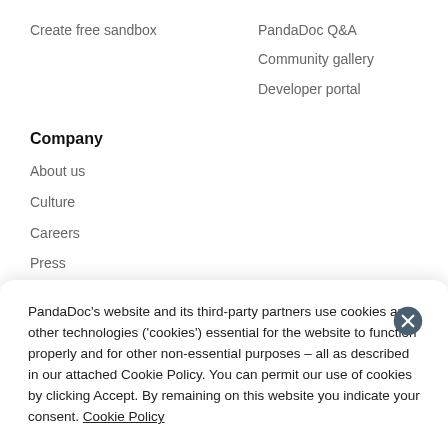Create free sandbox
PandaDoc Q&A
Community gallery
Developer portal
Company
About us
Culture
Careers
Press
Awards
PandaDoc's website and its third-party partners use cookies and other technologies ('cookies') essential for the website to function properly and for other non-essential purposes – all as described in our attached Cookie Policy. You can permit our use of cookies by clicking Accept. By remaining on this website you indicate your consent. Cookie Policy